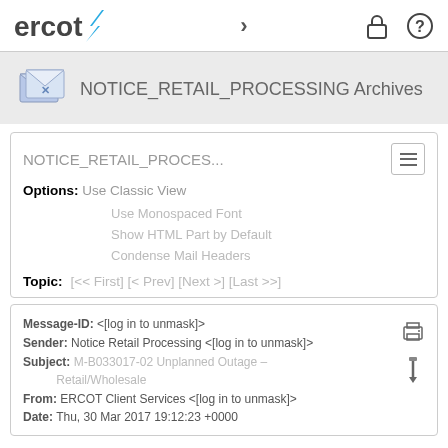ercot > [lock icon] [help icon]
NOTICE_RETAIL_PROCESSING Archives
NOTICE_RETAIL_PROCES...
Options: Use Classic View
Use Monospaced Font
Show HTML Part by Default
Condense Mail Headers
Topic: [<< First] [< Prev] [Next >] [Last >>]
Message-ID: <[log in to unmask]>
Sender: Notice Retail Processing <[log in to unmask]>
Subject: M-B033017-02 Unplanned Outage – Retail/Wholesale
From: ERCOT Client Services <[log in to unmask]>
Date: Thu, 30 Mar 2017 19:12:23 +0000